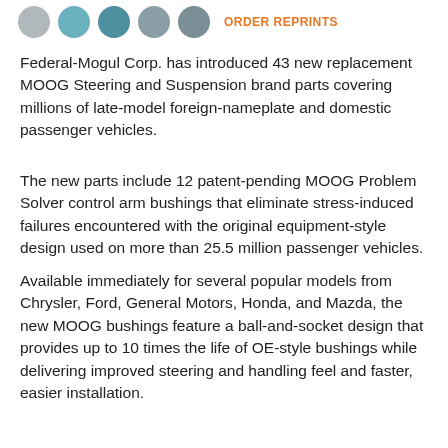ORDER REPRINTS
Federal-Mogul Corp. has introduced 43 new replacement MOOG Steering and Suspension brand parts covering millions of late-model foreign-nameplate and domestic passenger vehicles.
The new parts include 12 patent-pending MOOG Problem Solver control arm bushings that eliminate stress-induced failures encountered with the original equipment-style design used on more than 25.5 million passenger vehicles.
Available immediately for several popular models from Chrysler, Ford, General Motors, Honda, and Mazda, the new MOOG bushings feature a ball-and-socket design that provides up to 10 times the life of OE-style bushings while delivering improved steering and handling feel and faster, easier installation.